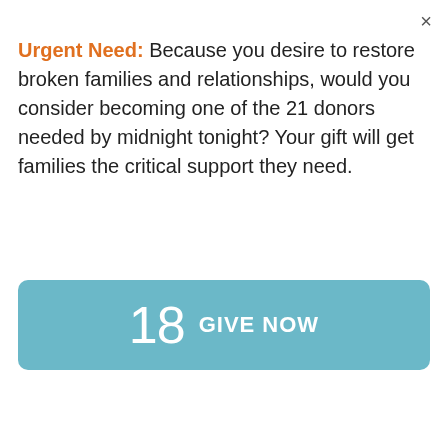×
Urgent Need: Because you desire to restore broken families and relationships, would you consider becoming one of the 21 donors needed by midnight tonight? Your gift will get families the critical support they need.
[Figure (other): Teal button with large number 18 and text GIVE NOW]
FAMILYLIFE BLENDED® MINUTE
My Marriage Is Better, and I Feel Guilty About It
with Ron Deal  August 30, 2022
[Figure (photo): Advertisement banner showing a couple with text YOUR WEEKEND TO rekindle and Save 50% Now button, Weekend to Remember logo]
×